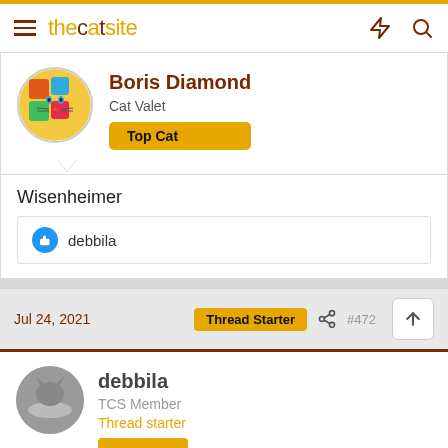thecatsite
Boris Diamond
Cat Valet
Top Cat
Wisenheimer
debbila
Jul 24, 2021  Thread Starter  #472
debbila
TCS Member
Thread starter